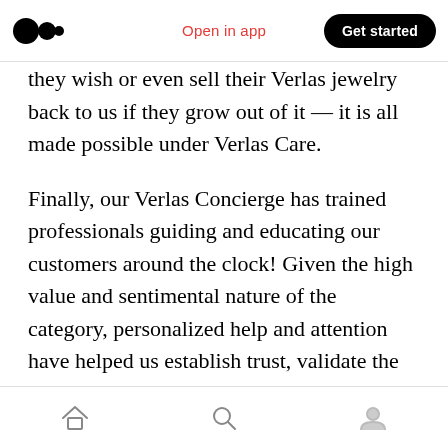Medium logo | Open in app | Get started
they wish or even sell their Verlas jewelry back to us if they grow out of it — it is all made possible under Verlas Care.
Finally, our Verlas Concierge has trained professionals guiding and educating our customers around the clock! Given the high value and sentimental nature of the category, personalized help and attention have helped us establish trust, validate the quality and give consumers the ability to interact with products before buying. Our customers are recognizing the value we bring to their decision-making and
Home | Search | Profile